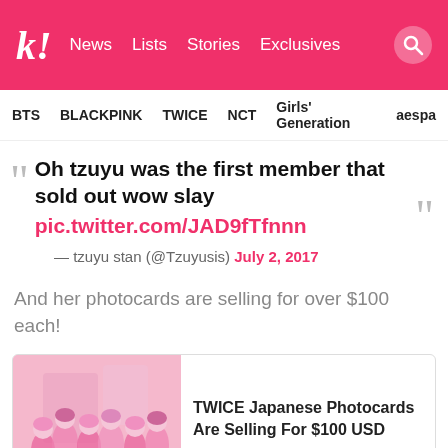k! News Lists Stories Exclusives [search]
BTS BLACKPINK TWICE NCT Girls' Generation aespa
Oh tzuyu was the first member that sold out wow slay pic.twitter.com/JAD9fTfnnn — tzuyu stan (@Tzuyusis) July 2, 2017
And her photocards are selling for over $100 each!
[Figure (photo): TWICE group photo in pink outfits]
TWICE Japanese Photocards Are Selling For $100 USD